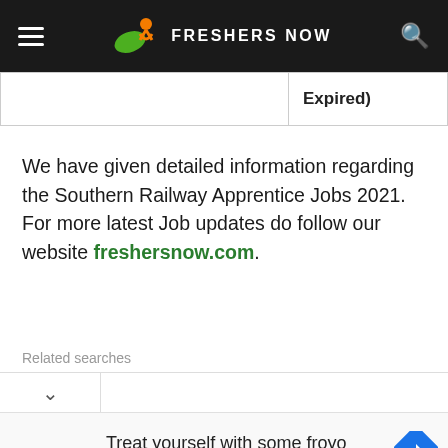FRESHERS NOW
|  | Expired) |
We have given detailed information regarding the Southern Railway Apprentice Jobs 2021. For more latest Job updates do follow our website freshersnow.com.
Related searches
[Figure (screenshot): Dropdown chevron and related searches bar]
[Figure (infographic): Advertisement banner for sweetFrog - Treat yourself with some froyo]